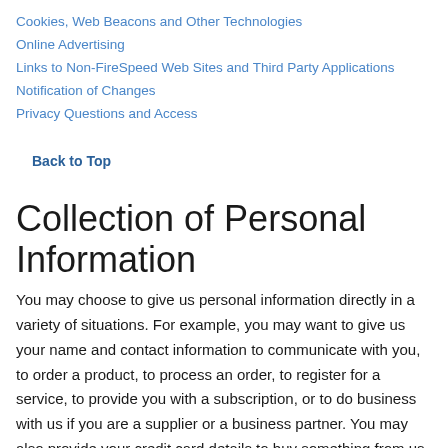Cookies, Web Beacons and Other Technologies
Online Advertising
Links to Non-FireSpeed Web Sites and Third Party Applications
Notification of Changes
Privacy Questions and Access
Back to Top
Collection of Personal Information
You may choose to give us personal information directly in a variety of situations.  For example, you may want to give us your name and contact information to communicate with you, to order a product, to process an order, to register for a service, to provide you with a subscription, or to do business with us if you are a supplier or a business partner.  You may also provide your credit card details to buy something from us or may share a